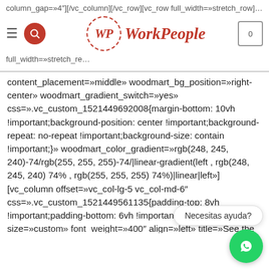WorkPeople website header with navigation and logo
column_gap=»4″][/vc_column][/vc_row][vc_row full_width=»stretch_re content_placement=»middle» woodmart_bg_position=»right-center» woodmart_gradient_switch=»yes» css=».vc_custom_1521449692008{margin-bottom: 10vh !important;background-position: center !important;background-repeat: no-repeat !important;background-size: contain !important;}» woodmart_color_gradient=»rgb(248, 245, 240)-74/rgb(255, 255, 255)-74/|linear-gradient(left , rgb(248, 245, 240) 74% , rgb(255, 255, 255) 74%)|linear|left»][vc_column offset=»vc_col-lg-5 vc_col-md-6″ css=».vc_custom_1521449561135{padding-top: 8vh !important;padding-bottom: 6vh !important;}»] [woodmart_title size=»custom» font_weight=»400″ align=»left» title=»See the t , discover something new or fall for an old fave.» subtitle=»VERSIONS HAVE EVOLVED OVER THE YEARS